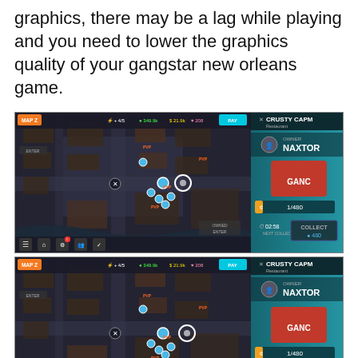graphics, there may be a lag while playing and you need to lower the graphics quality of your gangstar new orleans game.
[Figure (screenshot): Screenshot of Gangstar New Orleans mobile game showing game map with player locations, resource counters at top (4/5, 349.9k, 21.9k, 208), and a business panel on the right showing 'CRUSTY CAPM' restaurant owned by NAXTOR with 1/480 coins and 02:58 timer with COLLECT 480 button.]
[Figure (screenshot): Second identical screenshot of Gangstar New Orleans mobile game showing same game map with player locations, resource counters, and business panel for 'CRUSTY CAPM' restaurant owned by NAXTOR with 1/480 coins and 02:58 timer with COLLECT 480 button.]